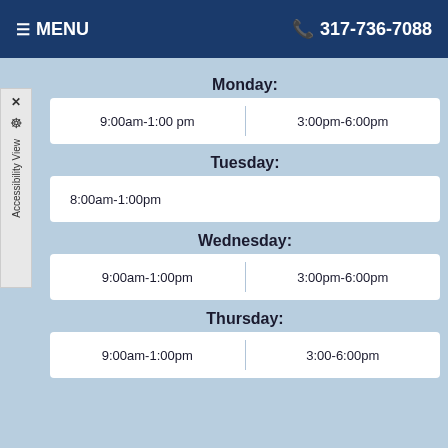≡ MENU   317-736-7088
Monday:
| 9:00am-1:00 pm | 3:00pm-6:00pm |
Tuesday:
| 8:00am-1:00pm |
Wednesday:
| 9:00am-1:00pm | 3:00pm-6:00pm |
Thursday:
| 9:00am-1:00pm | 3:00-6:00pm |